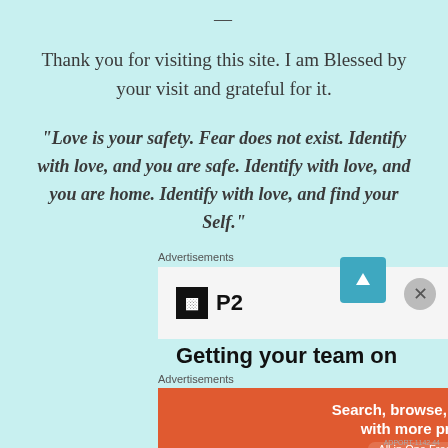—
Thank you for visiting this site. I am Blessed by your visit and grateful for it.
“Love is your safety. Fear does not exist. Identify with love, and you are safe. Identify with love, and you are home. Identify with love, and find your Self.”
Advertisements
[Figure (logo): P2 logo with black square icon and bold P2 text]
Getting your team on
Advertisements
[Figure (screenshot): DuckDuckGo advertisement: Search, browse, and email with more privacy. All in One Free App. DuckDuckGo logo on dark background.]